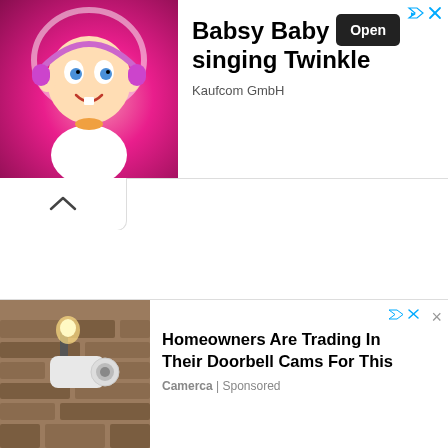[Figure (screenshot): Top advertisement banner: animated baby cartoon on pink glowing background on the left, ad text 'Babsy Baby singing Twinkle' with 'Kaufcom GmbH' and 'Open' button on the right. Ad icon and X close button at top right.]
[Figure (screenshot): Collapse/chevron-up button area below the top ad banner, white rounded rectangle with up-arrow (^) symbol.]
[Figure (screenshot): White empty content area in the middle of the page.]
[Figure (screenshot): Green filter/funnel icon at bottom left, and circled X close button at bottom right, above the second ad strip.]
[Figure (screenshot): Partial second Babsy Baby ad strip with ad icon and italic bold text 'Babsy Baby singing Twinkle' partially visible.]
[Figure (screenshot): Bottom banner ad: outdoor security camera on stone wall background on the left. Text 'Homeowners Are Trading In Their Doorbell Cams For This' with 'Camerca | Sponsored' below. X close button top right.]